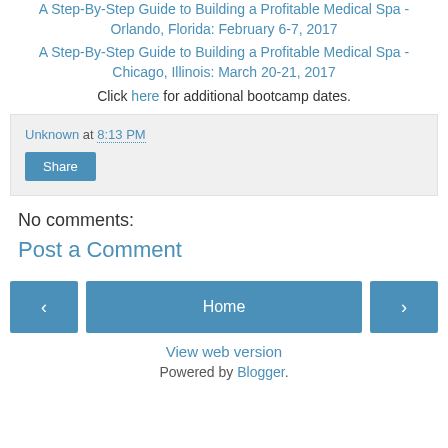A Step-By-Step Guide to Building a Profitable Medical Spa - Orlando, Florida: February 6-7, 2017
A Step-By-Step Guide to Building a Profitable Medical Spa - Chicago, Illinois: March 20-21, 2017
Click here for additional bootcamp dates.
Unknown at 8:13 PM
Share
No comments:
Post a Comment
Home
View web version
Powered by Blogger.